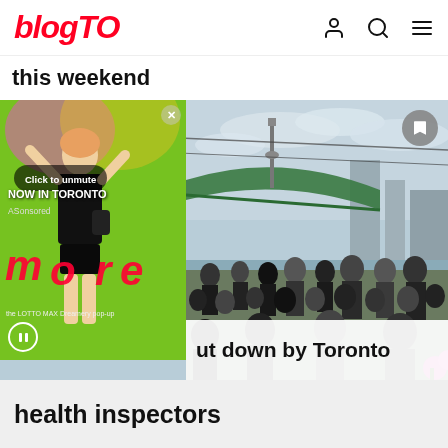blogTO
this weekend
[Figure (screenshot): BlogTO website screenshot showing a news article page with an ad overlay on the left (LOTTO MAX Dreamery pop-up with green background showing a dancer, 'Click to unmute' button, 'NOW IN TORONTO' text, 'AS Sponsored' label, pause button), and a background photo on the right showing a large crowd of people at an outdoor event near a waterfront with the Toronto CN Tower visible in the background and a green bridge structure. A bookmark icon is visible in the top right. At the bottom of the image is a white title overlay reading '...ut down by Toronto'. Below the image on a gray background is the text 'health inspectors'.]
...ut down by Toronto health inspectors